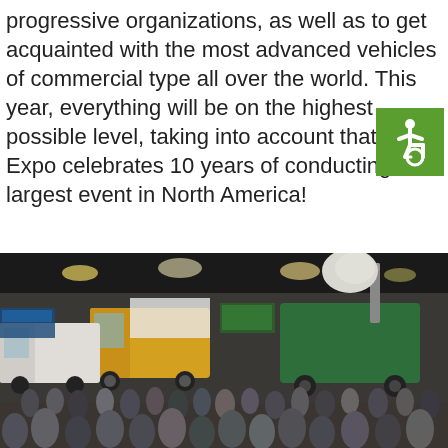progressive organizations, as well as to get acquainted with the most advanced vehicles of commercial type all over the world. This year, everything will be on the highest possible level, taking into account that AC Expo celebrates 10 years of conducting the largest event in North America!
[Figure (photo): Green square accessibility icon (wheelchair symbol) overlaid on the text area, top-right]
[Figure (photo): Large indoor commercial vehicle expo floor with crowds of people viewing trucks including a yellow semi-truck and a green vehicle with a crane arm, inside a large convention center with overhead lighting and vendor booths.]